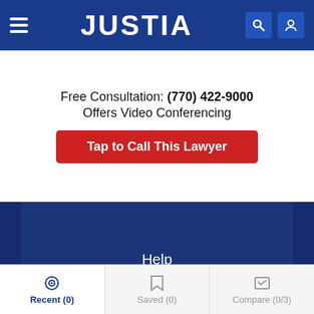JUSTIA
Free Consultation: (770) 422-9000
Offers Video Conferencing
Tap to Call This Lawyer
Company
Help
Terms of Service
Privacy Policy
Marketing Solutions
Recent (0)   Saved (0)   Compare (0/3)